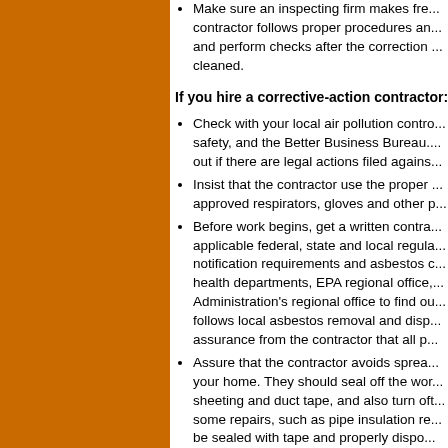Make sure an inspecting firm makes fre... contractor follows proper procedures an... and perform checks after the correction ... cleaned.
If you hire a corrective-action contractor:
Check with your local air pollution contro... safety, and the Better Business Bureau.... out if there are legal actions filed agains...
Insist that the contractor use the proper ... approved respirators, gloves and other p...
Before work begins, get a written contra... applicable federal, state and local regula... notification requirements and asbestos c... health departments, EPA regional office,... Administration's regional office to find ou... follows local asbestos removal and disp... assurance from the contractor that all p...
Assure that the contractor avoids sprea... your home. They should seal off the wor... sheeting and duct tape, and also turn oft... some repairs, such as pipe insulation re... be sealed with tape and properly dispo...
Make sure the work site is clearly marke... members or pets into the area until work...
Insist that the contractor apply a wetting... sprayer that creates a fine mist before re... as dry fibers and will be easier to clean ...
Make sure the contractor does not break...